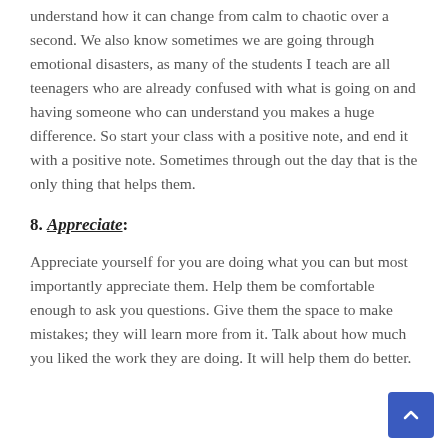understand how it can change from calm to chaotic over a second. We also know sometimes we are going through emotional disasters, as many of the students I teach are all teenagers who are already confused with what is going on and having someone who can understand you makes a huge difference. So start your class with a positive note, and end it with a positive note. Sometimes through out the day that is the only thing that helps them.
8. Appreciate:
Appreciate yourself for you are doing what you can but most importantly appreciate them. Help them be comfortable enough to ask you questions. Give them the space to make mistakes; they will learn more from it. Talk about how much you liked the work they are doing. It will help them do better.